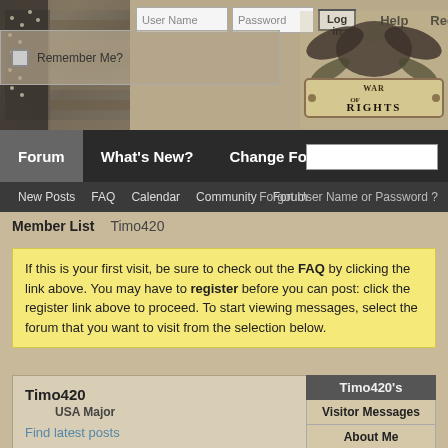[Figure (screenshot): War of Rights forum website header with flag image, login fields, navigation tabs, and member profile page for Timo420]
User Name | Password | Log in | Help | Register | Remember Me?
Forum | What's New? | Change Forum
New Posts FAQ Calendar Community Forum Forgot User Name or Password?
Member List  Timo420
If this is your first visit, be sure to check out the FAQ by clicking the link above. You may have to register before you can post: click the register link above to proceed. To start viewing messages, select the forum that you want to visit from the selection below.
Timo420
USA Major
Find latest posts
Find latest started threads
Timo420's
Visitor Messages
About Me
Friends
All  Timo420